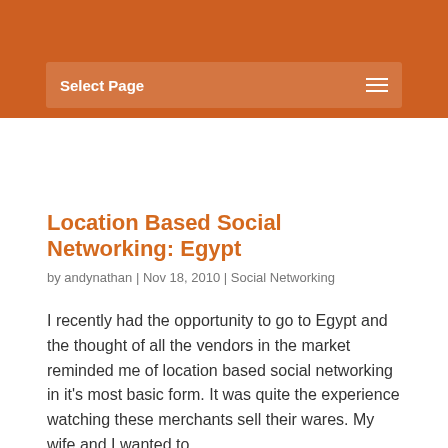Select Page
Location Based Social Networking: Egypt
by andynathan | Nov 18, 2010 | Social Networking
I recently had the opportunity to go to Egypt and the thought of all the vendors in the market reminded me of location based social networking in it’s most basic form. It was quite the experience watching these merchants sell their wares. My wife and I wanted to…